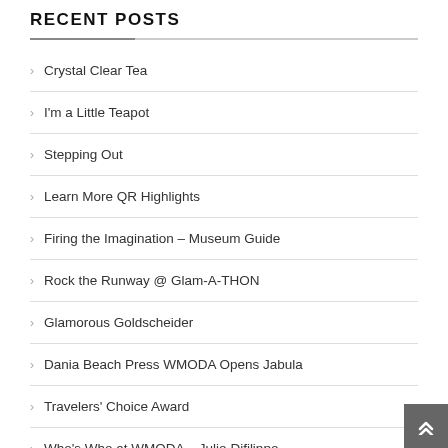RECENT POSTS
Crystal Clear Tea
I'm a Little Teapot
Stepping Out
Learn More QR Highlights
Firing the Imagination – Museum Guide
Rock the Runway @ Glam-A-THON
Glamorous Goldscheider
Dania Beach Press WMODA Opens Jabula
Travelers' Choice Award
Who's Who at WMODA – Julio Difilippo